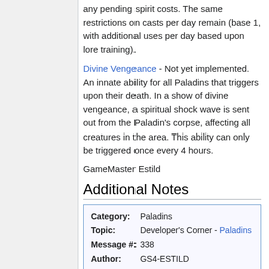any pending spirit costs. The same restrictions on casts per day remain (base 1, with additional uses per day based upon lore training).
Divine Vengeance - Not yet implemented. An innate ability for all Paladins that triggers upon their death. In a show of divine vengeance, a spiritual shock wave is sent out from the Paladin's corpse, affecting all creatures in the area. This ability can only be triggered once every 4 hours.
GameMaster Estild
Additional Notes
| Category: | Paladins |
| Topic: | Developer's Corner - Paladins |
| Message #: | 338 |
| Author: | GS4-ESTILD |